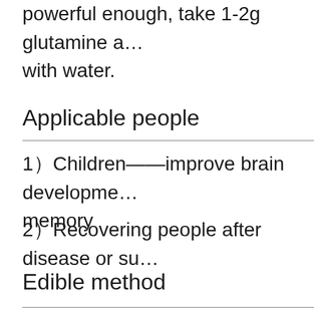powerful enough, take 1-2g glutamine a... with water.
Applicable people
1）Children——improve brain development memory
2）Recovering people after disease or su...
Edible method